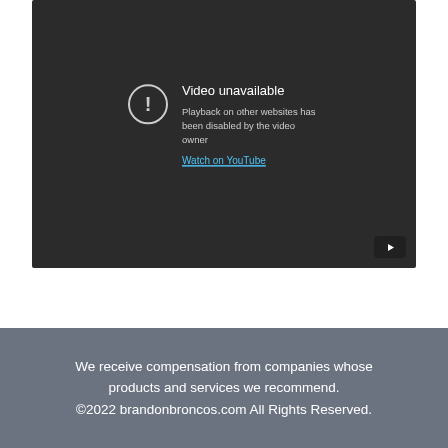[Figure (screenshot): YouTube embedded video player showing 'Video unavailable' error. Dark background with an alert icon (circle with exclamation mark), text 'Video unavailable', 'Playback on other websites has been disabled by the video owner', a 'Watch on YouTube' link, and a YouTube play button icon in the bottom-right corner.]
We receive compensation from companies whose products and services we recommend.
©2022 brandonbroncos.com All Rights Reserved.